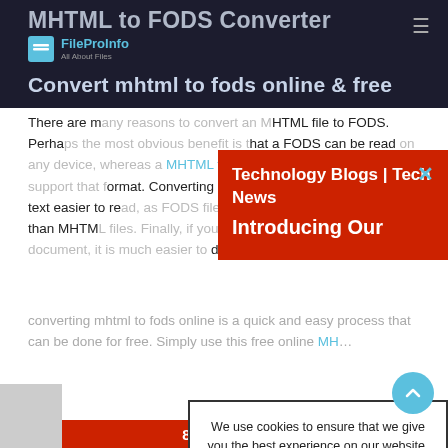MHTML to FODS Converter
Convert mhtml to fods online & free
[Figure (logo): FileProInfo logo - blue icon with text 'FileProInfo All About Files']
There are many reasons to convert an MHTML file to FODS. Perhaps the most obvious benefit is that a FODS can be read on any device, whereas a MHTML file is limited to devices that support that format. Converting MHTML to FODS also makes the text easier to read, as FODS files are generally more readable than MHTML files. Finally, if you want to make changes to a document, it is much easier to do so in a FODS format.
converting mhtml to fods online is a quick and easy process that can be done for free. Simply use this free online MH...
[Figure (screenshot): Red notification banner overlay with text 'Technology Blogs | Tech News' and 'Introducing Our' with X close button]
[Figure (screenshot): Cookie consent modal: 'We use cookies to ensure that we give you the best experience on our website. If you continue to use this site we will assume that you accept and understand our Privacy Policy, and our Terms of Service.' with I Agree button]
[Figure (screenshot): Gray box bottom left and red banner at bottom with text '80+ Free SEO Tools']
[Figure (screenshot): Cyan scroll-to-top circular button at bottom right]